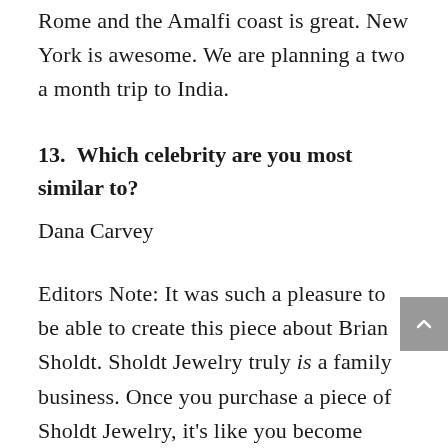Rome and the Amalfi coast is great. New York is awesome. We are planning a two a month trip to India.
13.  Which celebrity are you most similar to?
Dana Carvey
Editors Note: It was such a pleasure to be able to create this piece about Brian Sholdt. Sholdt Jewelry truly is a family business. Once you purchase a piece of Sholdt Jewelry, it’s like you become family. That’s just the way the Sholdts are, and they have been that way for over 80 years. It’s something that truly sets them apart